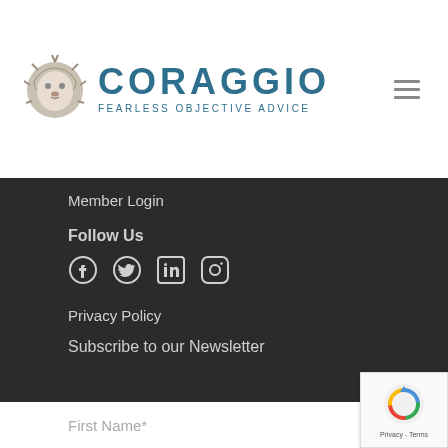[Figure (logo): Coraggio logo with lion icon and text 'CORAGGIO - FEARLESS OBJECTIVE ADVICE' in blue]
Member Login
Follow Us
[Figure (infographic): Social media icons: Facebook, Twitter, LinkedIn, Instagram]
Privacy Policy
Subscribe to our Newsletter
First Name*
[Figure (other): reCAPTCHA badge with Privacy and Terms text]